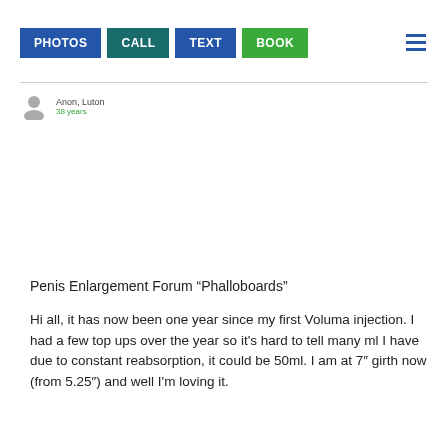PHOTOS | CALL | TEXT | BOOK
Anon, Luton
38 years
Penis Enlargement Forum “Phalloboards”
Hi all, it has now been one year since my first Voluma injection. I had a few top ups over the year so it's hard to tell many ml I have due to constant reabsorption, it could be 50ml. I am at 7″ girth now (from 5.25″) and well I'm loving it.